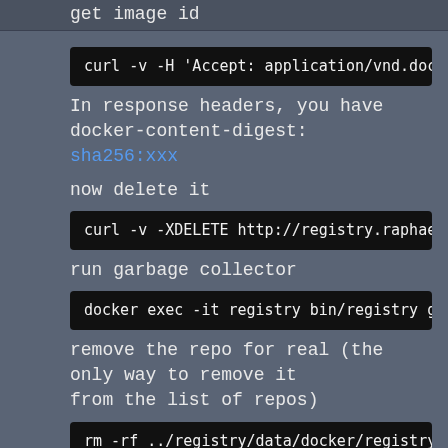get image id
curl -v -H 'Accept: application/vnd.docker.di
In response headers, you have docker-content-digest:
sha256:xxx
now delete it
curl -v -XDELETE http://registry.raphaelpicco
run garbage collector
docker exec -it registry bin/registry garbage
remove the repo for real (the only way to remove it from the list of repos)
rm -rf ../registry/data/docker/registry/v2/re